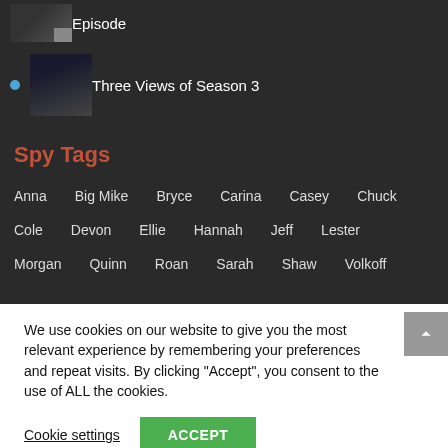Episode
Three Views of Season 3
Spy Tags
Anna  Big Mike  Bryce  Carina  Casey  Chuck  Cole  Devon  Ellie  Hannah  Jeff  Lester  Morgan  Quinn  Roan  Sarah  Shaw  Volkoff
We use cookies on our website to give you the most relevant experience by remembering your preferences and repeat visits. By clicking “Accept”, you consent to the use of ALL the cookies.
Cookie settings
ACCEPT